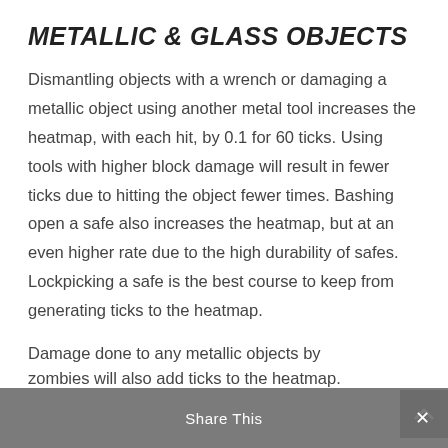METALLIC & GLASS OBJECTS
Dismantling objects with a wrench or damaging a metallic object using another metal tool increases the heatmap, with each hit, by 0.1 for 60 ticks. Using tools with higher block damage will result in fewer ticks due to hitting the object fewer times. Bashing open a safe also increases the heatmap, but at an even higher rate due to the high durability of safes. Lockpicking a safe is the best course to keep from generating ticks to the heatmap.
Damage done to any metallic objects by zombies will also add ticks to the heatmap.
Share This